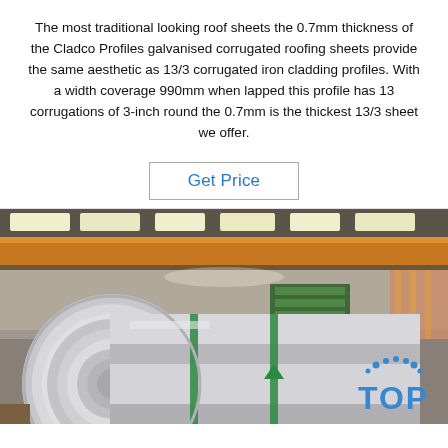The most traditional looking roof sheets the 0.7mm thickness of the Cladco Profiles galvanised corrugated roofing sheets provide the same aesthetic as 13/3 corrugated iron cladding profiles. With a width coverage 990mm when lapped this profile has 13 corrugations of 3-inch round the 0.7mm is the thickest 13/3 sheet we offer.
Get Price
[Figure (photo): Industrial warehouse interior showing large silver metallic coils of sheet steel on the factory floor, with orange overhead crane beams and fluorescent lighting visible in the ceiling. A green stripe is visible on the coil. A 'TOP' logo watermark appears in the lower right.]